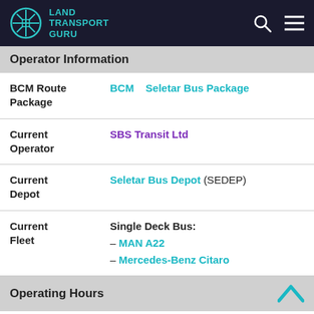Land Transport Guru
Operator Information
|  |  |
| --- | --- |
| BCM Route Package | Seletar Bus Package |
| Current Operator | SBS Transit Ltd |
| Current Depot | Seletar Bus Depot (SEDEP) |
| Current Fleet | Single Deck Bus:
– MAN A22
– Mercedes-Benz Citaro |
Operating Hours
| Departure | Daily |
| --- | --- |